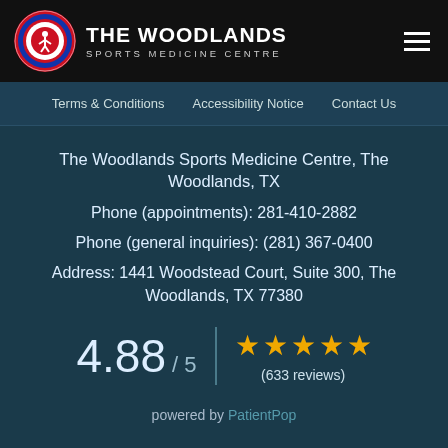THE WOODLANDS SPORTS MEDICINE CENTRE
Terms & Conditions   Accessibility Notice   Contact Us
The Woodlands Sports Medicine Centre, The Woodlands, TX
Phone (appointments): 281-410-2882
Phone (general inquiries): (281) 367-0400
Address: 1441 Woodstead Court, Suite 300, The Woodlands, TX 77380
4.88 / 5  ★★★★★  (633 reviews)
powered by PatientPop